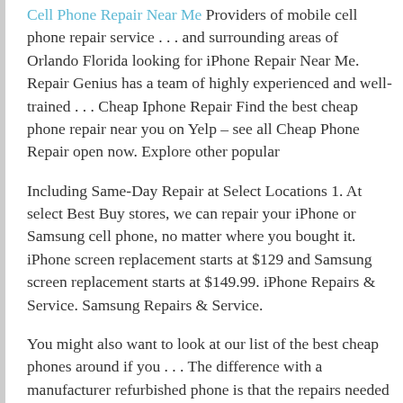Cell Phone Repair Near Me Providers of mobile cell phone repair service . . . and surrounding areas of Orlando Florida looking for iPhone Repair Near Me. Repair Genius has a team of highly experienced and well-trained . . . Cheap Iphone Repair Find the best cheap phone repair near you on Yelp – see all Cheap Phone Repair open now. Explore other popular
Including Same-Day Repair at Select Locations 1. At select Best Buy stores, we can repair your iPhone or Samsung cell phone, no matter where you bought it. iPhone screen replacement starts at $129 and Samsung screen replacement starts at $149.99. iPhone Repairs & Service. Samsung Repairs & Service.
You might also want to look at our list of the best cheap phones around if you . . . The difference with a manufacturer refurbished phone is that the repairs needed to get it up to